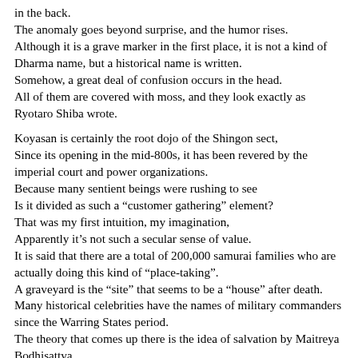in the back. The anomaly goes beyond surprise, and the humor rises. Although it is a grave marker in the first place, it is not a kind of Dharma name, but a historical name is written. Somehow, a great deal of confusion occurs in the head. All of them are covered with moss, and they look exactly as Ryotaro Shiba wrote.
Koyasan is certainly the root dojo of the Shingon sect, Since its opening in the mid-800s, it has been revered by the imperial court and power organizations. Because many sentient beings were rushing to see Is it divided as such a “customer gathering” element? That was my first intuition, my imagination, Apparently it’s not such a secular sense of value. It is said that there are a total of 200,000 samurai families who are actually doing this kind of “place-taking”. A graveyard is the “site” that seems to be a “house” after death. Many historical celebrities have the names of military commanders since the Warring States period. The theory that comes up there is the idea of salvation by Maitreya Bodhisattva. Maitreya was promised to be Buddha next to Gautama Buddha, who is now Buddha. Bodhisattva (practitioner) in the future 5,670 million years after the death of Gautama.